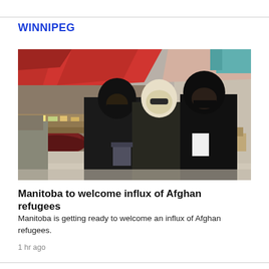WINNIPEG
[Figure (photo): Three women in black hijabs and face masks walking through an outdoor market with colourful stalls and awnings in the background. Two women wear black face masks and one wears a white hijab with sunglasses.]
Manitoba to welcome influx of Afghan refugees
Manitoba is getting ready to welcome an influx of Afghan refugees.
1 hr ago